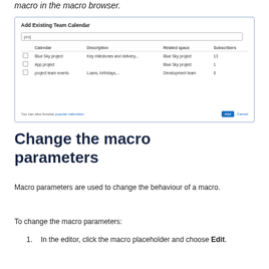macro in the macro browser.
[Figure (screenshot): Dialog box titled 'Add Existing Team Calendar' showing a search field with 'pro', a table listing calendars (Blue Sky project, App project, project team events) with Description, Related space, and Subscribers columns, and footer with 'popular calendars' link plus Add and Cancel buttons.]
Change the macro parameters
Macro parameters are used to change the behaviour of a macro.
To change the macro parameters:
In the editor, click the macro placeholder and choose Edit.